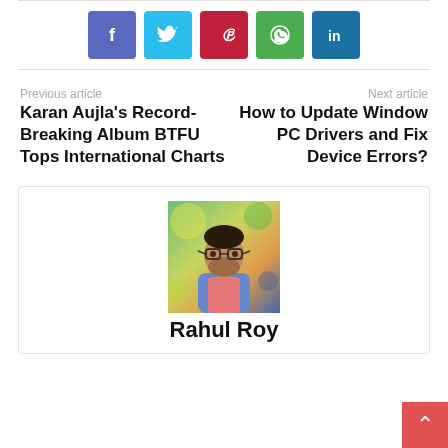[Figure (infographic): Row of five social media share buttons: Facebook (purple-blue), Twitter (cyan), Pinterest (red), WhatsApp (green), LinkedIn (dark blue)]
Previous article
Next article
Karan Aujla's Record-Breaking Album BTFU Tops International Charts
How to Update Window PC Drivers and Fix Device Errors?
[Figure (photo): Portrait photo of Rahul Roy, a man with glasses and a beard wearing a denim jacket over a pink shirt, standing outdoors with a blurred colorful background.]
Rahul Roy